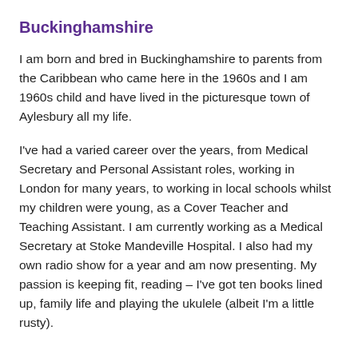Buckinghamshire
I am born and bred in Buckinghamshire to parents from the Caribbean who came here in the 1960s and I am 1960s child and have lived in the picturesque town of Aylesbury all my life.
I've had a varied career over the years, from Medical Secretary and Personal Assistant roles, working in London for many years, to working in local schools whilst my children were young, as a Cover Teacher and Teaching Assistant. I am currently working as a Medical Secretary at Stoke Mandeville Hospital. I also had my own radio show for a year and am now presenting. My passion is keeping fit, reading – I've got ten books lined up, family life and playing the ukulele (albeit I'm a little rusty).